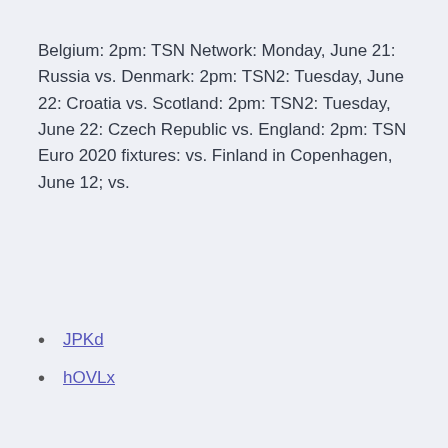Belgium: 2pm: TSN Network: Monday, June 21: Russia vs. Denmark: 2pm: TSN2: Tuesday, June 22: Croatia vs. Scotland: 2pm: TSN2: Tuesday, June 22: Czech Republic vs. England: 2pm: TSN Euro 2020 fixtures: vs. Finland in Copenhagen, June 12; vs.
JPKd
hOVLx